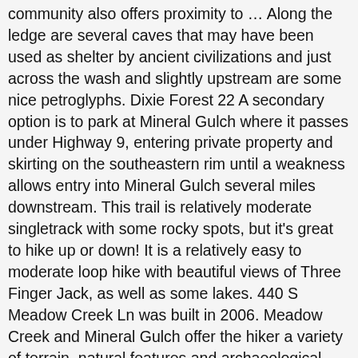community also offers proximity to … Along the ledge are several caves that may have been used as shelter by ancient civilizations and just across the wash and slightly upstream are some nice petroglyphs. Dixie Forest 22 A secondary option is to park at Mineral Gulch where it passes under Highway 9, entering private property and skirting on the southeastern rim until a weakness allows entry into Mineral Gulch several miles downstream. This trail is relatively moderate singletrack with some rocky spots, but it's great to hike up or down! It is a relatively easy to moderate loop hike with beautiful views of Three Finger Jack, as well as some lakes. 440 S Meadow Creek Ln was built in 2006. Meadow Creek and Mineral Gulch offer the hiker a variety of terrain, natural features and archaeological viewing with the feeling of total isolation. Let the world see your experience through your eyes. Zion Hiking Advanced Site Map We do not recommend the hike down the eastern rim of Mineral Gulch as it crosses private lands and the ramp into Mineral Gulch is steep and exposed in places. Meadow Creek Ridge is one of Bach Homes' newest communities. Grand Canyon 85 Those with an early start can